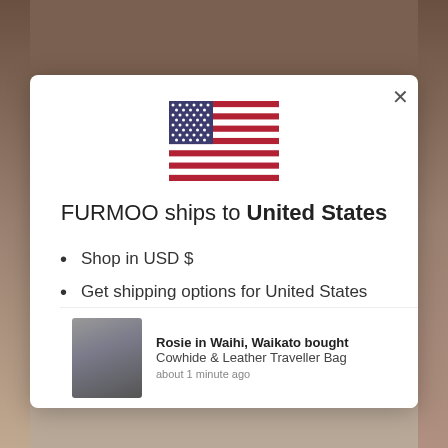[Figure (screenshot): Background website page showing leather bags with blurred content behind a modal dialog]
[Figure (illustration): United States flag SVG illustration in the modal dialog]
FURMOO ships to United States
Shop in USD $
Get shipping options for United States
Shop now
Rosie in Waihi, Waikato bought
Cowhide & Leather Traveller Bag
about 1 minute ago